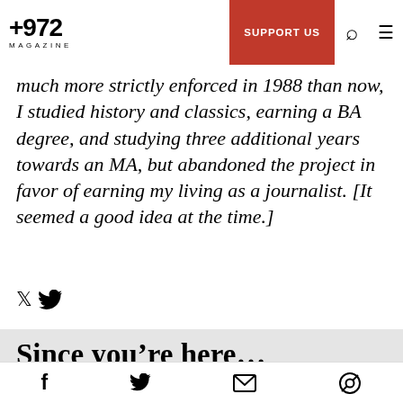+972 MAGAZINE | SUPPORT US
much more strictly enforced in 1988 than now, I studied history and classics, earning a BA degree, and studying three additional years towards an MA, but abandoned the project in favor of earning my living as a journalist. [It seemed a good idea at the time.]
Since you’re here…
A lot of work goes into creating articles like the one you just read. +972 Magazine is nonprofit
f  🐦  ✉  🔗